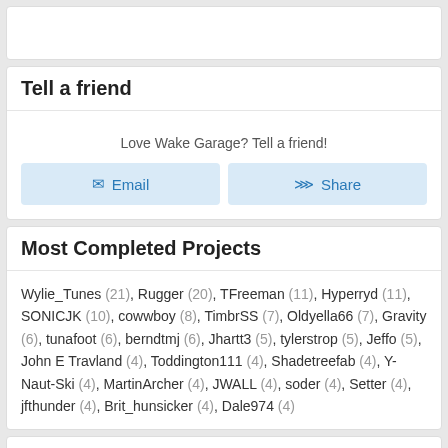Tell a friend
Love Wake Garage? Tell a friend!
Email
Share
Most Completed Projects
Wylie_Tunes (21), Rugger (20), TFreeman (11), Hyperryd (11), SONICJK (10), cowwboy (8), TimbrSS (7), Oldyella66 (7), Gravity (6), tunafoot (6), berndtmj (6), Jhartt3 (5), tylerstrop (5), Jeffo (5), John E Travland (4), Toddington111 (4), Shadetreefab (4), Y-Naut-Ski (4), MartinArcher (4), JWALL (4), soder (4), Setter (4), jfthunder (4), Brit_hunsicker (4), Dale974 (4)